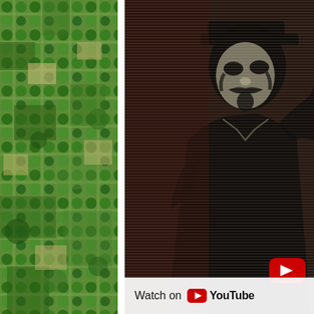[Figure (photo): Aerial satellite view of circular irrigation fields (center-pivot irrigation) in green and brown tones, viewed from above, showing geometric patterns of round green crop circles on a patchwork landscape.]
[Figure (screenshot): Video thumbnail or screenshot showing a figure wearing a Guy Fawkes / Anonymous mask in a dark, horizontally-scanned or interlaced visual style. A red YouTube play button icon is visible in the upper right area of the image.]
Watch on YouTube